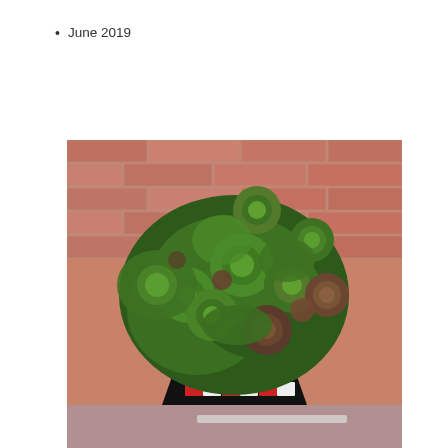June 2019
[Figure (photo): A lush green succulent plant with rosette-shaped leaves, some with reddish-purple tips, growing abundantly in a decorative black, white, and red checkered/mosaic pot placed against a red brick wall.]